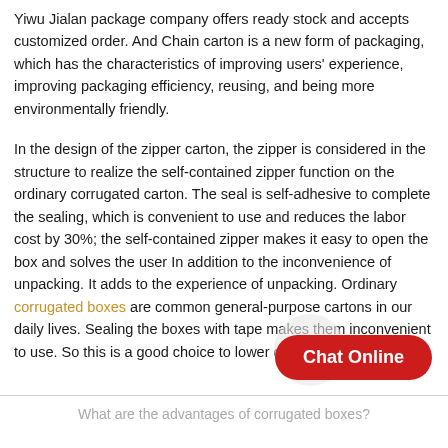Yiwu Jialan package company offers ready stock and accepts customized order. And Chain carton is a new form of packaging, which has the characteristics of improving users' experience, improving packaging efficiency, reusing, and being more environmentally friendly.
In the design of the zipper carton, the zipper is considered in the structure to realize the self-contained zipper function on the ordinary corrugated carton. The seal is self-adhesive to complete the sealing, which is convenient to use and reduces the labor cost by 30%; the self-contained zipper makes it easy to open the box and solves the user In addition to the inconvenience of unpacking. It adds to the experience of unpacking. Ordinary corrugated boxes are common general-purpose cartons in our daily lives. Sealing the boxes with tape makes them inconvenient to use. So this is a good choice to lower down the cost.
Chat Online
What are the advantages of corrugated boxes?